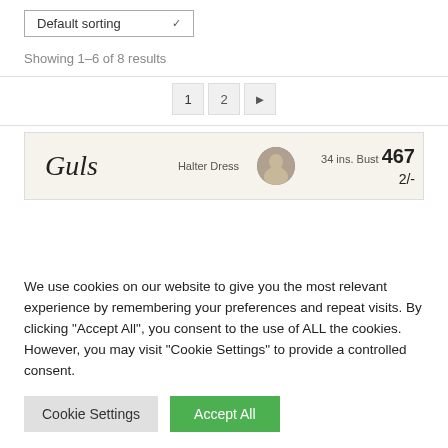Default sorting
Showing 1–6 of 8 results
1  2  ▶
[Figure (photo): Partial view of a sewing/dress pattern product card showing a brand name in cursive ('Guls' or similar), '34 ins. Bust', pattern number '467', price '2/-', and 'Halter Dress' label with a circular portrait image.]
We use cookies on our website to give you the most relevant experience by remembering your preferences and repeat visits. By clicking "Accept All", you consent to the use of ALL the cookies. However, you may visit "Cookie Settings" to provide a controlled consent.
Cookie Settings
Accept All